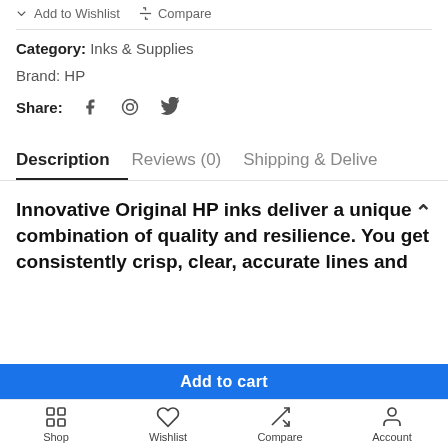Add to Wishlist   Compare
Category: Inks & Supplies
Brand: HP
Share: [Facebook] [Pinterest] [Twitter]
Description   Reviews (0)   Shipping & Delivery
Innovative Original HP inks deliver a unique combination of quality and resilience. You get consistently crisp, clear, accurate lines and
Shop   Wishlist   Compare   Account